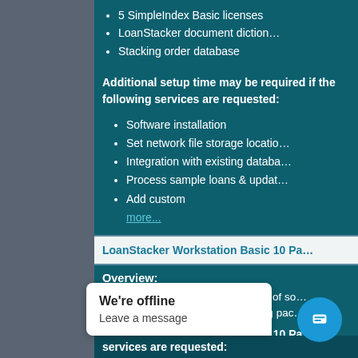5 SimpleIndex Basic licenses
LoanStacker document dictionary
Stacking order database
Additional setup time may be required if the following services are requested:
Software installation
Set network file storage location
Integration with existing database
Process sample loans & update
Add custom more...
LoanStacker Workstation Basic 10 Pa
Overview:
LoanStacker facilitates the process of sorting a mortgage loan origination or closing pac
LoanStacker Workstation Basic 10 Pa
10 SimpleIndex Basic licenses
Additional setup time may be required if the following services are requested: